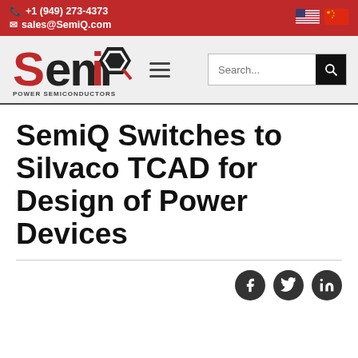+1 (949) 273-4373 | sales@SemiQ.com
[Figure (logo): SemiQ Power Semiconductors logo with red and black hexagonal design]
SemiQ Switches to Silvaco TCAD for Design of Power Devices
[Figure (infographic): Social share icons: Facebook, Twitter, LinkedIn]